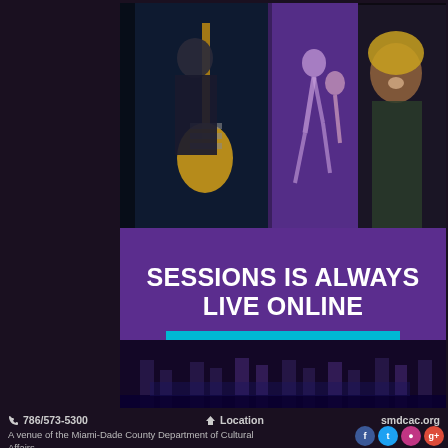[Figure (photo): Collage of performance photos: guitarist on left, dancers in center, female artist smiling on right]
SESSIONS IS ALWAYS LIVE ONLINE
WATCH NOW
[Figure (photo): Dance performance photo strip showing performers' legs on stage]
786/573-5300    Location    smdcac.org
A venue of the Miami-Dade County Department of Cultural Affairs